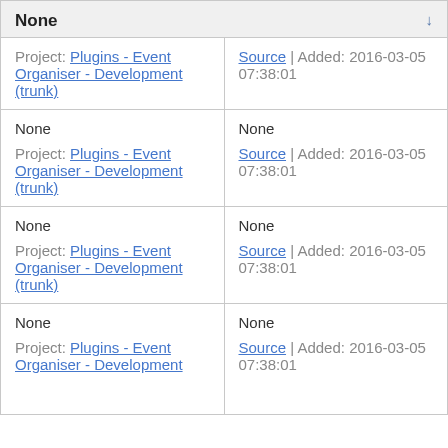| None ↓ |  |
| --- | --- |
| Project: Plugins - Event Organiser - Development (trunk) | Source | Added: 2016-03-05 07:38:01 |
| None
Project: Plugins - Event Organiser - Development (trunk) | None
Source | Added: 2016-03-05 07:38:01 |
| None
Project: Plugins - Event Organiser - Development (trunk) | None
Source | Added: 2016-03-05 07:38:01 |
| None
Project: Plugins - Event Organiser - Development (trunk) | None
Source | Added: 2016-03-05 07:38:01 |